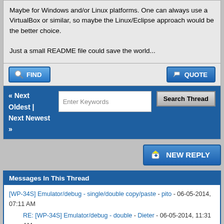Maybe for Windows and/or Linux platforms. One can always use a VirtualBox or similar, so maybe the Linux/Eclipse approach would be the better choice.

Just a small README file could save the world...
FIND | QUOTE
« Next Oldest | Next Newest » | Enter Keywords | Search Thread
NEW REPLY
Messages In This Thread
[WP-34S] Emulator/debug - single/double copy/paste - pito - 06-05-2014, 07:11 AM
RE: [WP-34S] Emulator/debug - double - Dieter - 06-05-2014, 11:31 AM
RE: [WP-34S] Emulator/debug - double - walter b - 06-05-2014, 11:50 AM
RE: [WP-34S] Emulator/debug - double - Dieter - 06-05-2014, 12:01 PM
RE: [WP-34S] Emulator/debug - double - Paul Dale - 06-05-2014, 12:11 PM
RE: [WP-34S] Emulator/debug - double - ... 00:05